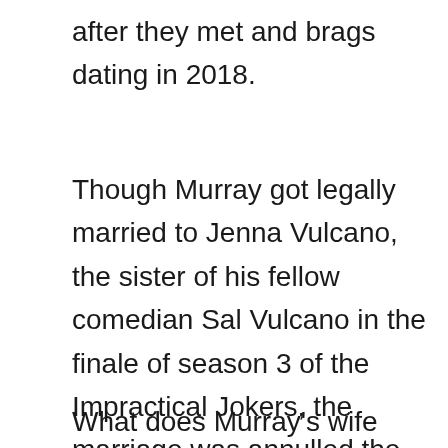after they met and brags dating in 2018.
Though Murray got legally married to Jenna Vulcano, the sister of his fellow comedian Sal Vulcano in the finale of season 3 of the Impractical Jokers, the marriage was annulled the same day they got married.
What does Murray's wife